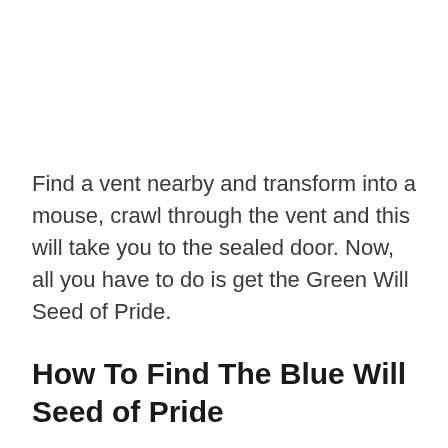Find a vent nearby and transform into a mouse, crawl through the vent and this will take you to the sealed door. Now, all you have to do is get the Green Will Seed of Pride.
How To Find The Blue Will Seed of Pride
The Blue Will Seed of Pride is found right before you get to deal with the IT tech wiz on Shido's ship, where you get to the right, there will come a row of